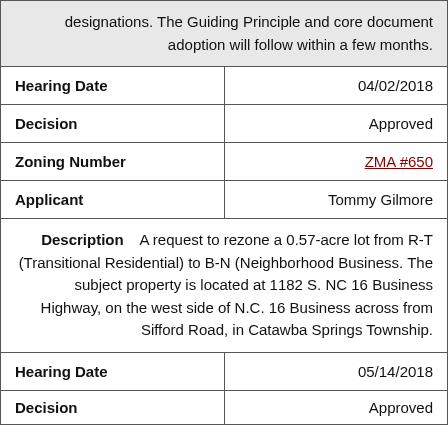| designations. The Guiding Principle and core document adoption will follow within a few months. |  |
| Hearing Date | 04/02/2018 |
| Decision | Approved |
| Zoning Number | ZMA #650 |
| Applicant | Tommy Gilmore |
| Description    A request to rezone a 0.57-acre lot from R-T (Transitional Residential) to B-N (Neighborhood Business. The subject property is located at 1182 S. NC 16 Business Highway, on the west side of N.C. 16 Business across from Sifford Road, in Catawba Springs Township. |  |
| Hearing Date | 05/14/2018 |
| Decision | Approved |